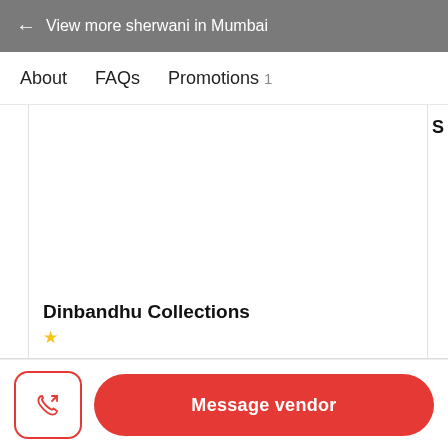← View more sherwani in Mumbai
About
FAQs
Promotions 1
[Figure (other): Scrollable vendor card area showing partial card with white background]
Dinbandhu Collections
★
Message vendor